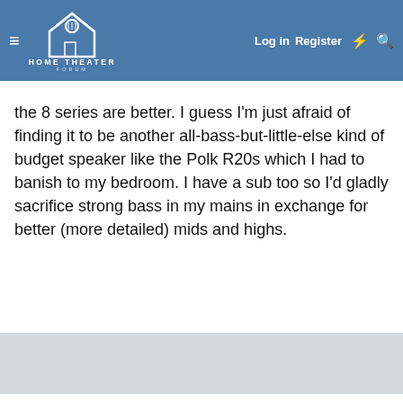HOME THEATER FORUM — Log in | Register
the 8 series are better. I guess I'm just afraid of finding it to be another all-bass-but-little-else kind of budget speaker like the Polk R20s which I had to banish to my bedroom. I have a sub too so I'd gladly sacrifice strong bass in my mains in exchange for better (more detailed) mids and highs.